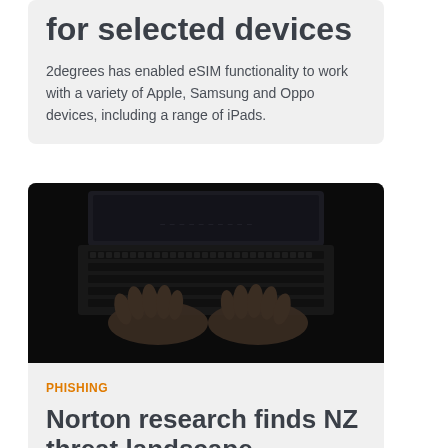for selected devices
2degrees has enabled eSIM functionality to work with a variety of Apple, Samsung and Oppo devices, including a range of iPads.
[Figure (photo): Overhead dark photo of two hands typing on a laptop keyboard in a dark environment]
PHISHING
Norton research finds NZ threat landscape